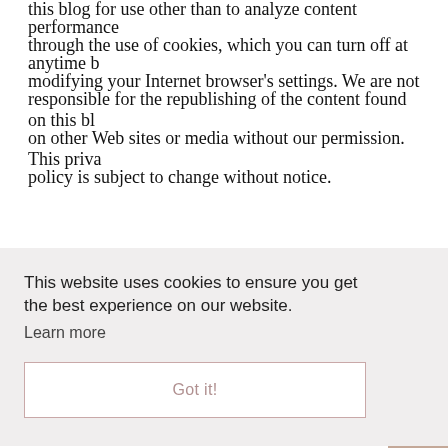this blog for use other than to analyze content performance through the use of cookies, which you can turn off at anytime by modifying your Internet browser's settings. We are not responsible for the republishing of the content found on this blog on other Web sites or media without our permission. This privacy policy is subject to change without notice.
This website uses cookies to ensure you get the best experience on our website. Learn more Got it!
SUBSCRIBE TO MY SCANDINAVIAN HOME